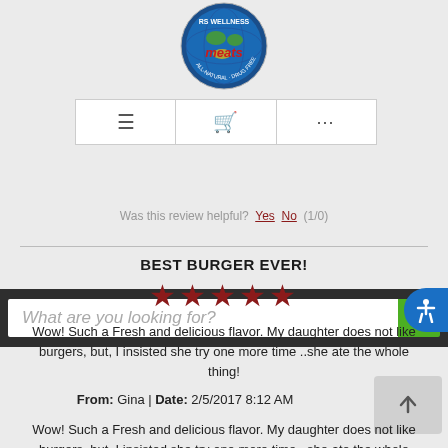[Figure (logo): RS Wellness Meats circular logo with world map and red/green/yellow colors]
[Figure (screenshot): Navigation bar with hamburger menu, shopping cart, and ellipsis icons]
[Figure (screenshot): Search bar with italic placeholder text 'What are you looking for?' and green search button]
Was this review helpful?  Yes  No  (1/0)
BEST BURGER EVER!
[Figure (other): Five dark red star rating icons]
Wow! Such a Fresh and delicious flavor. My daughter does not like burgers, but, I insisted she try one more time ..she ate the whole thing!
From: Gina | Date: 2/5/2017 8:12 AM
Wow! Such a Fresh and delicious flavor. My daughter does not like burgers, but, I insisted she try one more time ..she ate the whole thing!